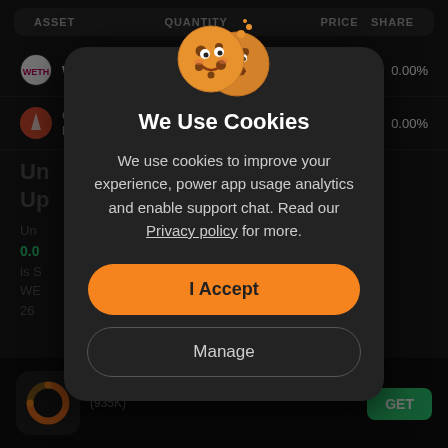| ASSET | QUANTITY | PRICE | SHARE |
| --- | --- | --- | --- |
| WETH | 0.0006649 WETH | $1,575.97 | 0.00% |
| Cron Finance |  | $0.00000635 | 0.00% |
[Figure (screenshot): Cookie consent modal dialog on a dark-themed crypto portfolio app. Shows two cookie emojis at the top, title 'We Use Cookies', explanatory text, Privacy policy link, 'I Accept' orange button, and 'Manage' outlined button.]
We Use Cookies
We use cookies to improve your experience, power app usage analytics and enable support chat. Read our Privacy policy for more.
I Accept
Manage